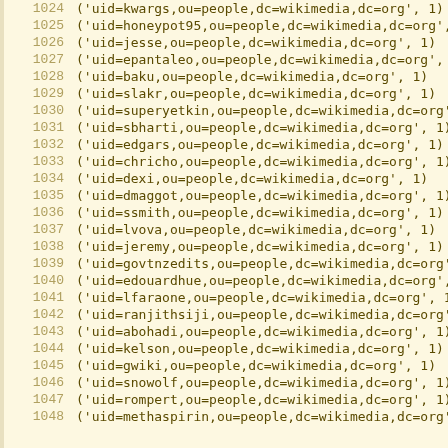1024  ('uid=kwargs,ou=people,dc=wikimedia,dc=org', 1)
1025  ('uid=honeypot95,ou=people,dc=wikimedia,dc=org', 1)
1026  ('uid=jesse,ou=people,dc=wikimedia,dc=org', 1)
1027  ('uid=epantaleo,ou=people,dc=wikimedia,dc=org', 1)
1028  ('uid=baku,ou=people,dc=wikimedia,dc=org', 1)
1029  ('uid=slakr,ou=people,dc=wikimedia,dc=org', 1)
1030  ('uid=superyetkin,ou=people,dc=wikimedia,dc=org', 1)
1031  ('uid=sbharti,ou=people,dc=wikimedia,dc=org', 1)
1032  ('uid=edgars,ou=people,dc=wikimedia,dc=org', 1)
1033  ('uid=chricho,ou=people,dc=wikimedia,dc=org', 1)
1034  ('uid=dexi,ou=people,dc=wikimedia,dc=org', 1)
1035  ('uid=dmaggot,ou=people,dc=wikimedia,dc=org', 1)
1036  ('uid=ssmith,ou=people,dc=wikimedia,dc=org', 1)
1037  ('uid=lvova,ou=people,dc=wikimedia,dc=org', 1)
1038  ('uid=jeremy,ou=people,dc=wikimedia,dc=org', 1)
1039  ('uid=govtnzedits,ou=people,dc=wikimedia,dc=org', 1)
1040  ('uid=edouardhue,ou=people,dc=wikimedia,dc=org', 1)
1041  ('uid=lfaraone,ou=people,dc=wikimedia,dc=org', 1)
1042  ('uid=ranjithsiji,ou=people,dc=wikimedia,dc=org', 1)
1043  ('uid=abohadi,ou=people,dc=wikimedia,dc=org', 1)
1044  ('uid=kelson,ou=people,dc=wikimedia,dc=org', 1)
1045  ('uid=gwiki,ou=people,dc=wikimedia,dc=org', 1)
1046  ('uid=snowolf,ou=people,dc=wikimedia,dc=org', 1)
1047  ('uid=rompert,ou=people,dc=wikimedia,dc=org', 1)
1048  ('uid=methaspirin,ou=people,dc=wikimedia,dc=org', 1)